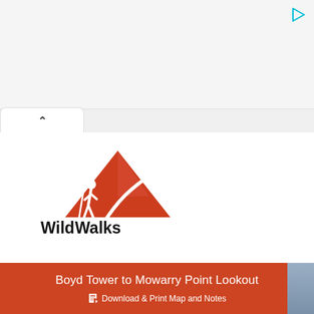[Figure (logo): WildWalks logo with red mountain/hiker icon and WildWalks wordmark in black]
Boyd Tower to Mowarry Point Lookout
Download & Print Map and Notes